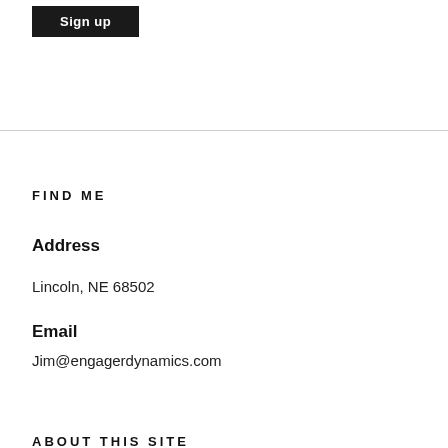Sign up
FIND ME
Address
Lincoln, NE 68502
Email
Jim@engagerdynamics.com
ABOUT THIS SITE